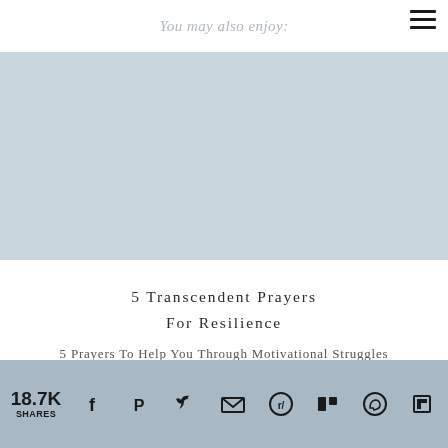You may also enjoy:
[Figure (illustration): Light blue rectangular image placeholder for article card]
5 Transcendent Prayers For Resilience
18.7K SHARES — social share bar with icons: Facebook, Pinterest, Twitter, Email, Reddit, Mix, WhatsApp, Flipboard